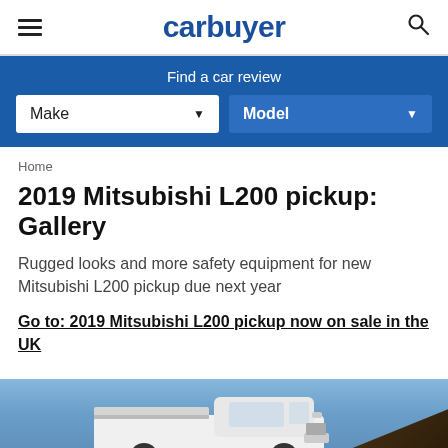carbuyer
Find a car review
Make   Model
Home
2019 Mitsubishi L200 pickup: Gallery
Rugged looks and more safety equipment for new Mitsubishi L200 pickup due next year
Go to: 2019 Mitsubishi L200 pickup now on sale in the UK
[Figure (photo): White Mitsubishi L200 pickup truck photographed outdoors against a blue sky with rocky terrain in background]